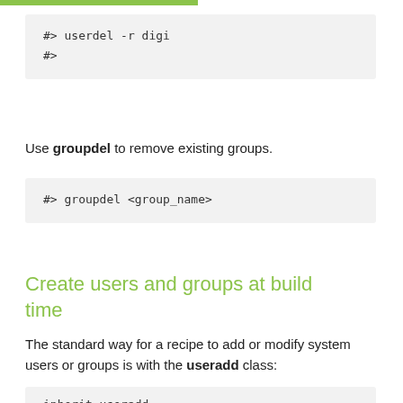#> userdel -r digi
#>
Use groupdel to remove existing groups.
#> groupdel <group_name>
Create users and groups at build time
The standard way for a recipe to add or modify system users or groups is with the useradd class:
inherit useradd